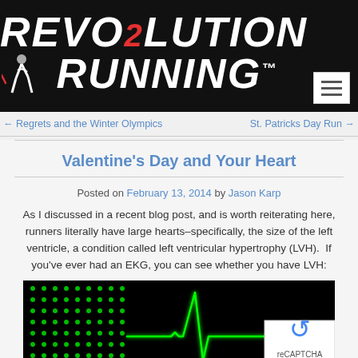[Figure (logo): Revolution Running logo — white bold italic text on black background with red accent and runner silhouette icon]
← Regrets and the Winter Olympics    St. Patricks Day Run →
Valentine's Day and Your Heart
Posted on February 13, 2014 by Jason Karp
As I discussed in a recent blog post, and is worth reiterating here, runners literally have large hearts–specifically, the size of the left ventricle, a condition called left ventricular hypertrophy (LVH).  If you've ever had an EKG, you can see whether you have LVH:
[Figure (photo): EKG / electrocardiogram display showing green heartbeat waveform on black background with green LED dot-matrix pattern on the left side]